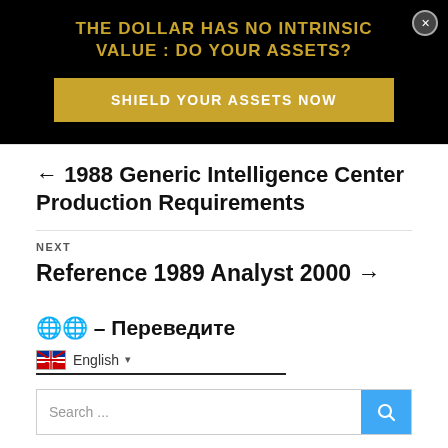[Figure (other): Advertisement banner with black background, gold/yellow text reading 'THE DOLLAR HAS NO INTRINSIC VALUE : DO YOUR ASSETS?' and a gold button 'SHIELD YOUR ASSETS NOW'. Close button (x) in top right.]
← 1988 Generic Intelligence Center Production Requirements
NEXT
Reference 1989 Analyst 2000 →
🌐🌐 – Переведите
English
Search ...